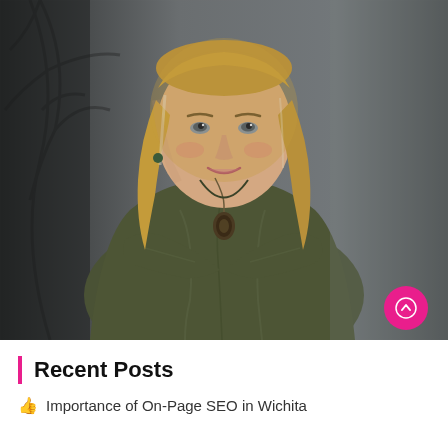[Figure (photo): Professional portrait of a middle-aged woman with shoulder-length blonde hair, wearing a dark olive/green satin blouse and a dark oval pendant necklace. She stands with arms crossed, smiling, against a dark grey background with bare tree branch shadows.]
Recent Posts
Importance of On-Page SEO in Wichita